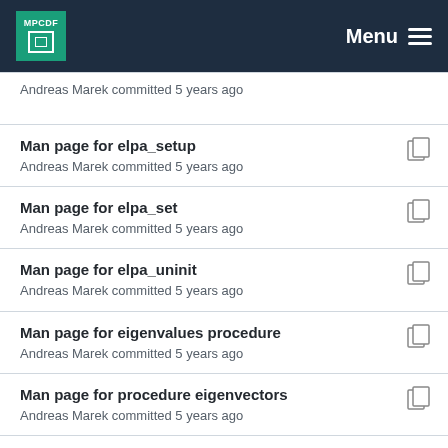MPCDF Menu
Andreas Marek committed 5 years ago
Man page for elpa_setup
Andreas Marek committed 5 years ago
Man page for elpa_set
Andreas Marek committed 5 years ago
Man page for elpa_uninit
Andreas Marek committed 5 years ago
Man page for eigenvalues procedure
Andreas Marek committed 5 years ago
Man page for procedure eigenvectors
Andreas Marek committed 5 years ago
generalized evp documentation started
Pavel Kus committed 4 years ago
Man pages for generalized_eigenvalues
Andreas Marek committed 4 years ago